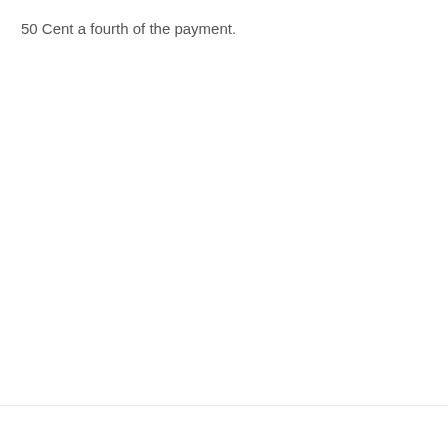50 Cent a fourth of the payment.